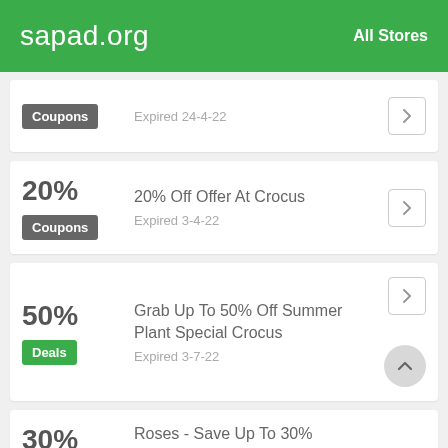sapad.org   All Stores
Coupons | Expired 24-4-22
20% | 20% Off Offer At Crocus | Coupons | Expired 3-4-22
50% | Grab Up To 50% Off Summer Plant Special Crocus | Deals | Expired 3-7-22
30% | Roses - Save Up To 30%